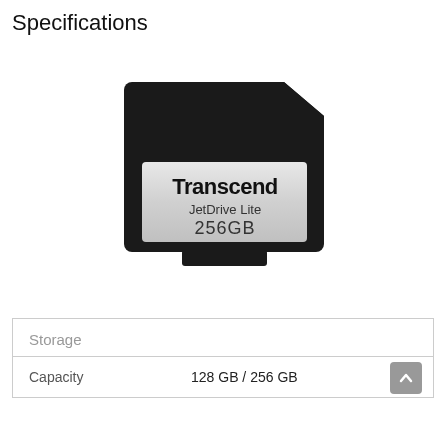Specifications
[Figure (illustration): Transcend JetDrive Lite 256GB memory card illustration – black card body with silver label showing Transcend JetDrive Lite 256GB text]
| Storage |  |
| --- | --- |
| Capacity | 128 GB / 256 GB |